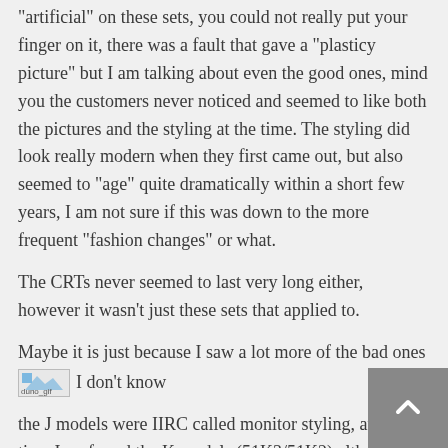"artificial" on these sets, you could not really put your finger on it, there was a fault that gave a "plasticy picture" but I am talking about even the good ones, mind you the customers never noticed and seemed to like both the pictures and the styling at the time. The styling did look really modern when they first came out, but also seemed to "age" quite dramatically within a short few years, I am not sure if this was down to the more frequent "fashion changes" or what.
The CRTs never seemed to last very long either, however it wasn't just these sets that applied to.
Maybe it is just because I saw a lot more of the bad ones [duno_gif] I don't know
the J models were IIRC called monitor styling, at the time I preferred the K models (51K3/51K2) although I think now your J series styling have stood the tests of time better.
The TX98 51P7 was very stylish for the time too, same case style of its ICC5 chassis bigger brother the 59P7 and very similar looks wise to the Philips G90 sets of the day.